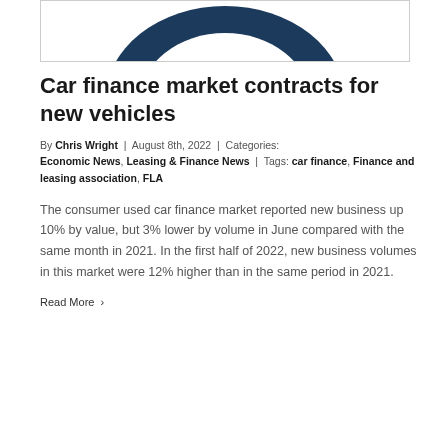[Figure (logo): Partial circular logo/graphic in dark navy blue, cropped at top of page inside a bordered box]
Car finance market contracts for new vehicles
By Chris Wright | August 8th, 2022 | Categories: Economic News, Leasing & Finance News | Tags: car finance, Finance and leasing association, FLA
The consumer used car finance market reported new business up 10% by value, but 3% lower by volume in June compared with the same month in 2021. In the first half of 2022, new business volumes in this market were 12% higher than in the same period in 2021.
Read More >